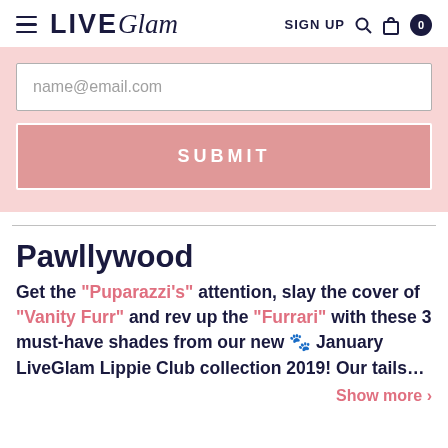LIVE Glam   SIGN UP  🔍  🛍 0
[Figure (screenshot): Email input field with placeholder text 'name@email.com' and a pink SUBMIT button below it, on a light pink background]
Pawllywood
Get the "Puparazzi's" attention, slay the cover of "Vanity Furr" and rev up the "Furrari" with these 3 must-have shades from our new 🐾 January LiveGlam Lippie Club collection 2019! Our tails...
Show more ›